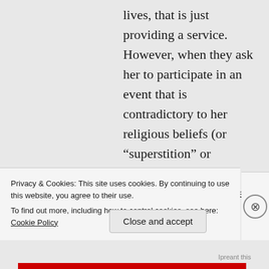lives, that is just providing a service. However, when they ask her to participate in an event that is contradictory to her religious beliefs (or “superstition” or whatever subjective term you’d like to give it which is
Privacy & Cookies: This site uses cookies. By continuing to use this website, you agree to their use.
To find out more, including how to control cookies, see here: Cookie Policy
Close and accept